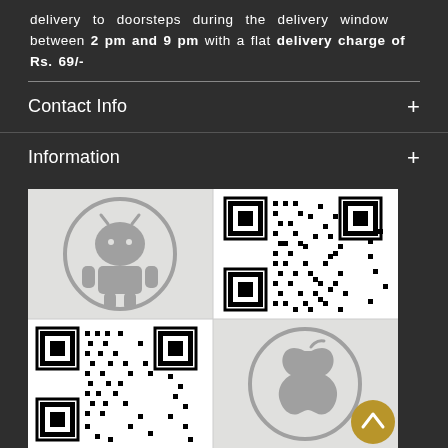delivery to doorsteps during the delivery window between 2 pm and 9 pm with a flat delivery charge of Rs. 69/-
Contact Info
Information
[Figure (illustration): A 2x2 grid showing Android logo (top-left), QR code for Android app (top-right), QR code for iOS app (bottom-left), and Apple logo (bottom-right). A gold/amber circular back-to-top button overlays the bottom-right corner.]